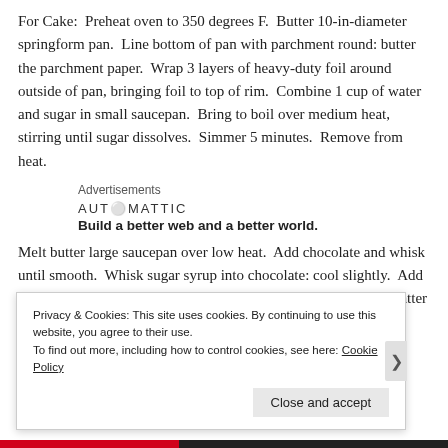For Cake:  Preheat oven to 350 degrees F.  Butter 10-in-diameter springform pan.  Line bottom of pan with parchment round: butter the parchment paper.  Wrap 3 layers of heavy-duty foil around outside of pan, bringing foil to top of rim.  Combine 1 cup of water and sugar in small saucepan.  Bring to boil over medium heat, stirring until sugar dissolves.  Simmer 5 minutes.  Remove from heat.
Advertisements
[Figure (other): Automattic advertisement with logo text 'AUTOMATTIC' and tagline 'Build a better web and a better world.']
Melt butter large saucepan over low heat.  Add chocolate and whisk until smooth.  Whisk sugar syrup into chocolate: cool slightly.  Add eggs to chocolate mixture and whisk until well blended.  Pour batter into
Privacy & Cookies: This site uses cookies. By continuing to use this website, you agree to their use.
To find out more, including how to control cookies, see here: Cookie Policy
Close and accept